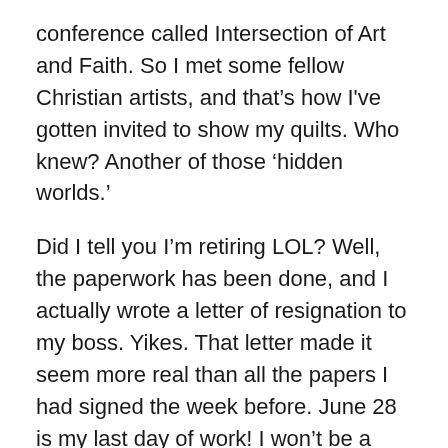conference called Intersection of Art and Faith.  So I met some fellow Christian artists, and that’s how I've gotten invited to show my quilts. Who knew?  Another of those ‘hidden worlds.’
Did I tell you I’m retiring LOL?  Well, the paperwork has been done, and I actually wrote a letter of resignation to my boss.  Yikes.  That letter made it seem more real than all the papers I had signed the week before.  June 28 is my last day of work!  I won’t be a neonatal intensive care nurse anymore!  It seems so strange, but it also seems like the only thing to do.
Changing the subject to topics much more familiar to me… here’s my eats for the day.
This morning I tried something new–almond meal